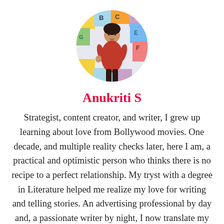[Figure (photo): Circular profile photo of Anukriti S, a woman in a red dress standing in front of a colorful background with letters/tiles]
Anukriti S
Strategist, content creator, and writer, I grew up learning about love from Bollywood movies. One decade, and multiple reality checks later, here I am, a practical and optimistic person who thinks there is no recipe to a perfect relationship. My tryst with a degree in Literature helped me realize my love for writing and telling stories. An advertising professional by day and, a passionate writer by night, I now translate my